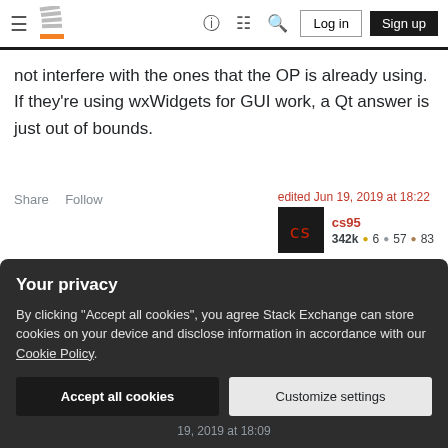Stack Overflow navigation bar with Log in and Sign up buttons
not interfere with the ones that the OP is already using. If they're using wxWidgets for GUI work, a Qt answer is just out of bounds.
Share  Follow  edited Jun 19, 2019 at 18:22  cs95  342k  6  57  83
answered Jun 18, 2019 at 17:32  Nicol Bolas  421k  60  180  274
Your privacy
By clicking "Accept all cookies", you agree Stack Exchange can store cookies on your device and disclose information in accordance with our Cookie Policy.
Accept all cookies  Customize settings
19, 2019 at 18:09